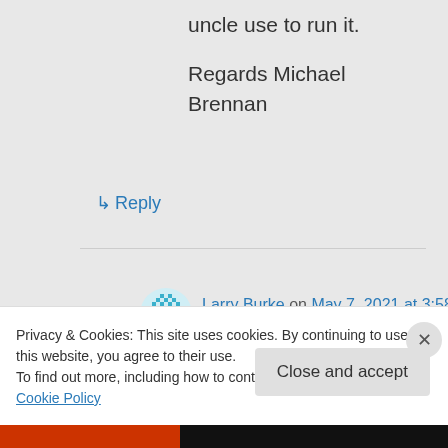uncle use to run it.
Regards Michael Brennan
↳ Reply
Larry Burke on May 7, 2021 at 3:58 pm
Hi Michael, thanks for the reply. My Aunt passed away many years ago. My sisters (who live in England) tell
Privacy & Cookies: This site uses cookies. By continuing to use this website, you agree to their use.
To find out more, including how to control cookies, see here: Cookie Policy
Close and accept